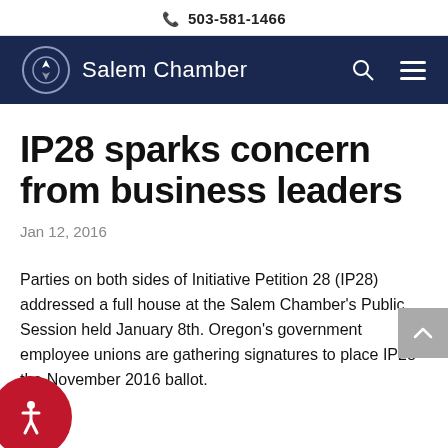503-581-1466
[Figure (logo): Salem Chamber logo with circular icon and text on dark navy background navigation bar]
IP28 sparks concern from business leaders
Jan 12, 2016
Parties on both sides of Initiative Petition 28 (IP28) addressed a full house at the Salem Chamber's Public Session held January 8th. Oregon's government employee unions are gathering signatures to place IP28 the November 2016 ballot.